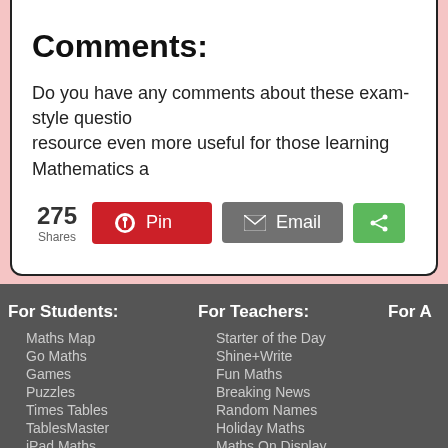Comments:
Do you have any comments about these exam-style questions? resource even more useful for those learning Mathematics a
275 Shares
For Students: Maths Map, Go Maths, Games, Puzzles, Times Tables, TablesMaster, iPad Maths, Investigations, Exam Questions
For Teachers: Starter of the Day, Shine+Write, Fun Maths, Breaking News, Random Names, Holiday Maths, Maths On Display, Class Admin, Curriculum
For A